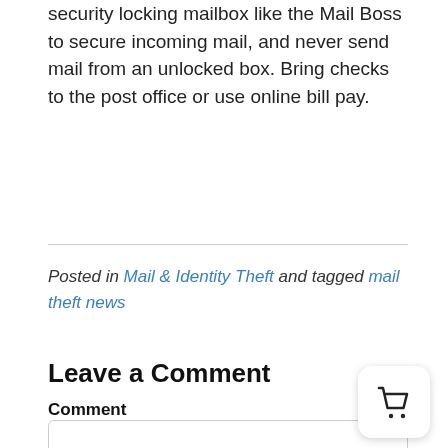security locking mailbox like the Mail Boss to secure incoming mail, and never send mail from an unlocked box. Bring checks to the post office or use online bill pay.
Posted in Mail & Identity Theft and tagged mail theft news
Leave a Comment
Comment
[Figure (other): Shopping cart icon in a white rounded square with drop shadow]